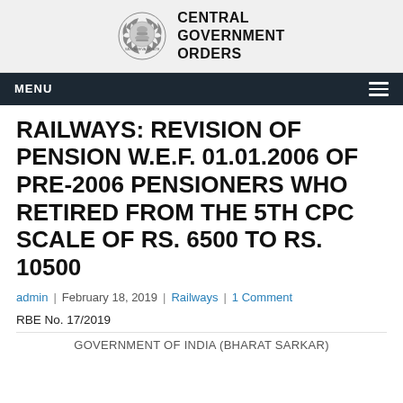CENTRAL GOVERNMENT ORDERS
RAILWAYS: REVISION OF PENSION W.E.F. 01.01.2006 OF PRE-2006 PENSIONERS WHO RETIRED FROM THE 5TH CPC SCALE OF RS. 6500 TO RS. 10500
admin | February 18, 2019 | Railways | 1 Comment
RBE No. 17/2019
GOVERNMENT OF INDIA (BHARAT SARKAR)